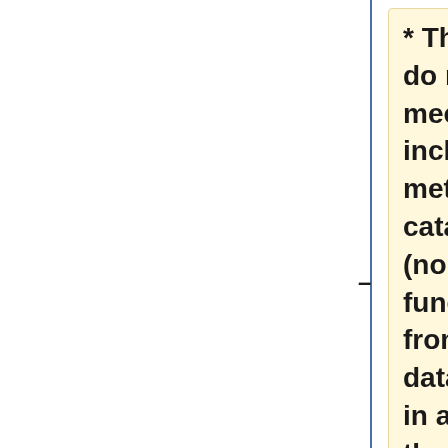* The BES catalogs do not support a mechanism for including inherited metadata down the catalog tree (normally this functionality comes from the datasetScan element in a static catalog). If the need for this arises it can be done...